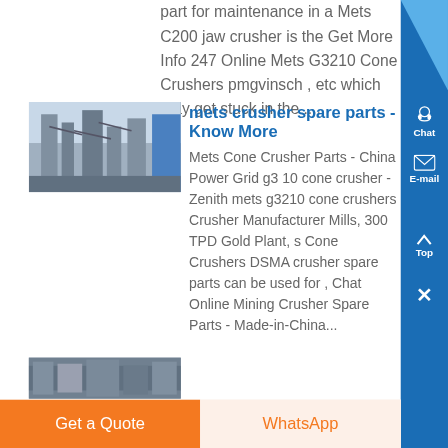part for maintenance in a Mets C200 jaw crusher is the Get More Info 247 Online Mets G3210 Cone Crushers pmgvinsch , etc which may get stuck in the ....
[Figure (photo): Industrial crusher equipment with large towers/columns visible outdoors]
mets crusher spare parts - Know More
Mets Cone Crusher Parts - China Power Grid g3 10 cone crusher - Zenith mets g3210 cone crushers Crusher Manufacturer Mills, 300 TPD Gold Plant, s Cone Crushers DSMA crusher spare parts can be used for , Chat Online Mining Crusher Spare Parts - Made-in-China...
[Figure (photo): Partial view of industrial equipment or facility at the bottom of the page]
Get a Quote
WhatsApp